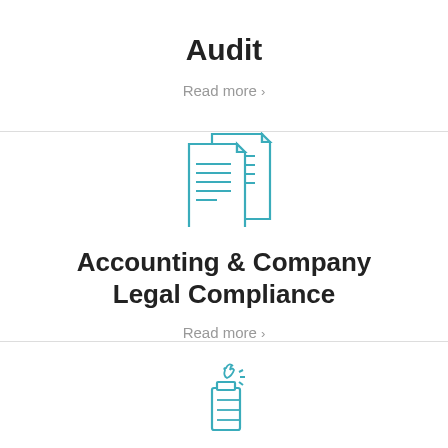Audit
Read more >
[Figure (illustration): Two overlapping document pages icon in teal/blue outline style]
Accounting & Company Legal Compliance
Read more >
[Figure (illustration): Lighter/flame icon in teal/blue outline style]